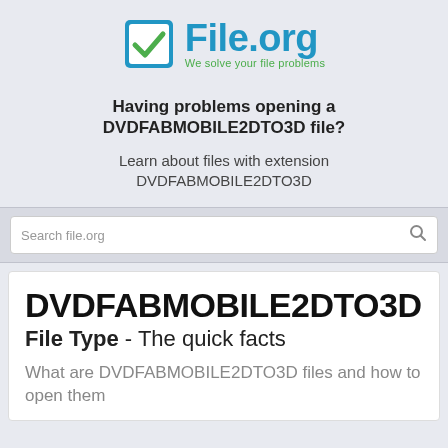[Figure (logo): File.org logo with blue checkbox icon and tagline 'We solve your file problems']
Having problems opening a DVDFABMOBILE2DTO3D file?
Learn about files with extension DVDFABMOBILE2DTO3D
Search file.org
DVDFABMOBILE2DTO3D File Type - The quick facts
What are DVDFABMOBILE2DTO3D files and how to open them